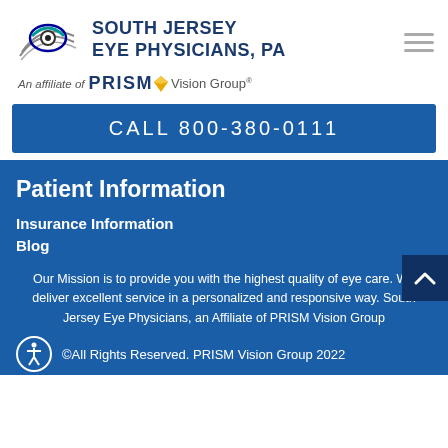[Figure (logo): South Jersey Eye Physicians PA logo with eye graphic and teal lines, affiliate of PRISM Vision Group]
CALL 800-380-0111
Patient Information
Insurance Information
Blog
Our Mission is to provide you with the highest quality of eye care. We deliver excellent service in a personalized and responsive way. South Jersey Eye Physicians, an Affiliate of PRISM Vision Group
©All Rights Reserved. PRISM Vision Group 2022